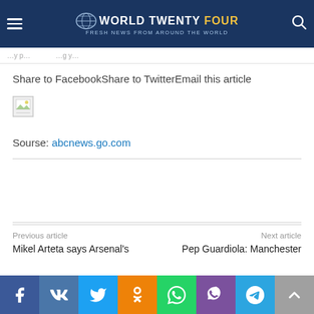World Twenty Four — Fresh news from around the world
Share to FacebookShare to TwitterEmail this article
[Figure (illustration): Broken image placeholder icon]
Sourse: abcnews.go.com
Previous article
Mikel Arteta says Arsenal's
Next article
Pep Guardiola: Manchester
[Figure (infographic): Social media sharing bar with Facebook, VK, Twitter, Odnoklassniki, WhatsApp, Viber, Telegram, and scroll-to-top buttons]